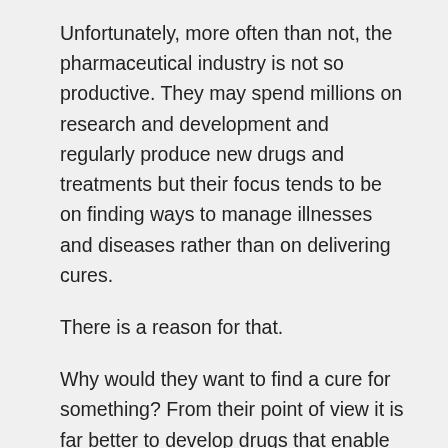Unfortunately, more often than not, the pharmaceutical industry is not so productive. They may spend millions on research and development and regularly produce new drugs and treatments but their focus tends to be on finding ways to manage illnesses and diseases rather than on delivering cures.
There is a reason for that.
Why would they want to find a cure for something? From their point of view it is far better to develop drugs that enable diseases to be controlled and managed. In so doing, patients require on-going treatments which mean that, for the pharmaceutical company,